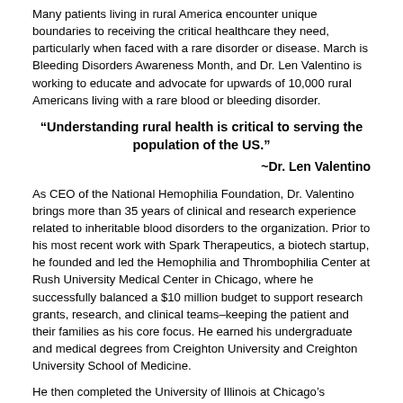Many patients living in rural America encounter unique boundaries to receiving the critical healthcare they need, particularly when faced with a rare disorder or disease. March is Bleeding Disorders Awareness Month, and Dr. Len Valentino is working to educate and advocate for upwards of 10,000 rural Americans living with a rare blood or bleeding disorder.
“Understanding rural health is critical to serving the population of the US.”
~Dr. Len Valentino
As CEO of the National Hemophilia Foundation, Dr. Valentino brings more than 35 years of clinical and research experience related to inheritable blood disorders to the organization. Prior to his most recent work with Spark Therapeutics, a biotech startup, he founded and led the Hemophilia and Thrombophilia Center at Rush University Medical Center in Chicago, where he successfully balanced a $10 million budget to support research grants, research, and clinical teams–keeping the patient and their families as his core focus. He earned his undergraduate and medical degrees from Creighton University and Creighton University School of Medicine.
He then completed the University of Illinois at Chicago’s Pediatric Medicine Residency before completing a fellowship in pediatric hematology-oncology at the David Geffen School of Medicine at UCLA. Dr. Valentino remains an active member of multiple professional organizations, including The American Society of Hematology; International Society of Thrombosis and Hemostasis; Medical Affairs Professional Society; and The Homophilia and Thrombosis...